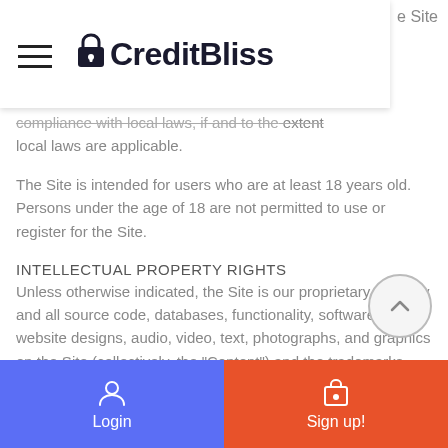CreditBliss
compliance with local laws, if and to the extent local laws are applicable.
The Site is intended for users who are at least 18 years old. Persons under the age of 18 are not permitted to use or register for the Site.
INTELLECTUAL PROPERTY RIGHTS
Unless otherwise indicated, the Site is our proprietary property and all source code, databases, functionality, software, website designs, audio, video, text, photographs, and graphics on the Site (collectively, the "Content") and the trademarks, service marks, and logos contained therein (the "Marks") are owned or controlled by us or licensed to us, and are protected by copyright and trademark laws, various other intellectual property rights, unfair competition laws of the United States, foreign jurisdictions, and international
Login  Sign up!